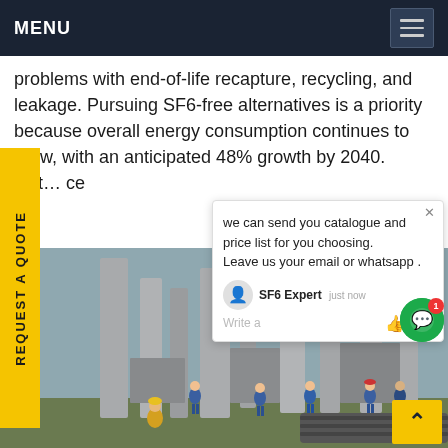MENU
problems with end-of-life recapture, recycling, and leakage. Pursuing SF6-free alternatives is a priority because overall energy consumption continues to grow, with an anticipated 48% growth by 2040. Get… ce
[Figure (photo): Industrial electrical substation with workers in blue hard hats and safety gear working around large grey electrical equipment and pipes outdoors]
REQUEST A QUOTE
we can send you catalogue and price list for you choosing. Leave us your email or whatsapp .
SF6 Expert   just now
Write a